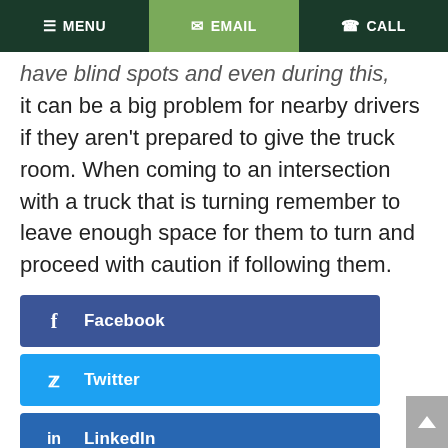MENU | EMAIL | CALL
have blind spots and even during this, it can be a big problem for nearby drivers if they aren't prepared to give the truck room. When coming to an intersection with a truck that is turning remember to leave enough space for them to turn and proceed with caution if following them.
Facebook
Twitter
LinkedIn